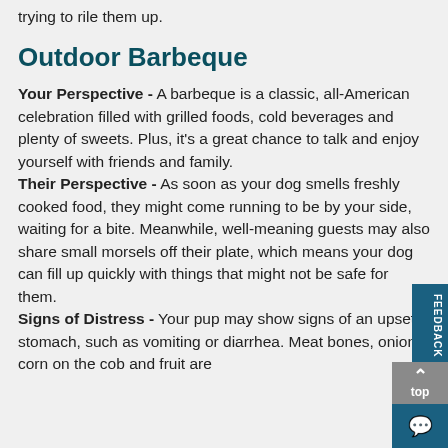trying to rile them up.
Outdoor Barbeque
Your Perspective - A barbeque is a classic, all-American celebration filled with grilled foods, cold beverages and plenty of sweets. Plus, it's a great chance to talk and enjoy yourself with friends and family.
Their Perspective - As soon as your dog smells freshly cooked food, they might come running to be by your side, waiting for a bite. Meanwhile, well-meaning guests may also share small morsels off their plate, which means your dog can fill up quickly with things that might not be safe for them.
Signs of Distress - Your pup may show signs of an upset stomach, such as vomiting or diarrhea. Meat bones, onions, corn on the cob and fruit are